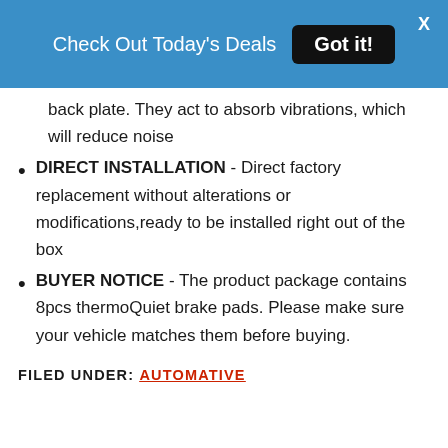Check Out Today's Deals  Got it!  X
back plate. They act to absorb vibrations, which will reduce noise
DIRECT INSTALLATION - Direct factory replacement without alterations or modifications,ready to be installed right out of the box
BUYER NOTICE - The product package contains 8pcs thermoQuiet brake pads. Please make sure your vehicle matches them before buying.
FILED UNDER: AUTOMATIVE